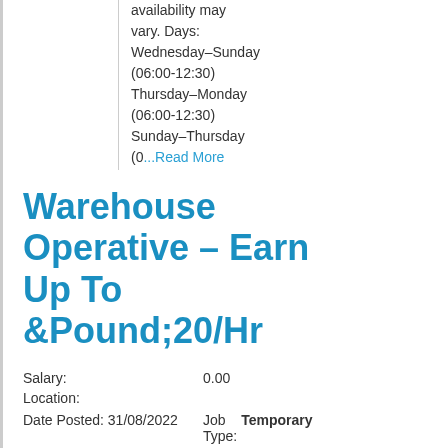availability may vary. Days: Wednesday–Sunday (06:00-12:30) Thursday–Monday (06:00-12:30) Sunday–Thursday (0...Read More
Warehouse Operative - Earn Up To &Pound;20/Hr
Salary: 0.00
Location:
Date Posted: 31/08/2022   Job Type: Temporary